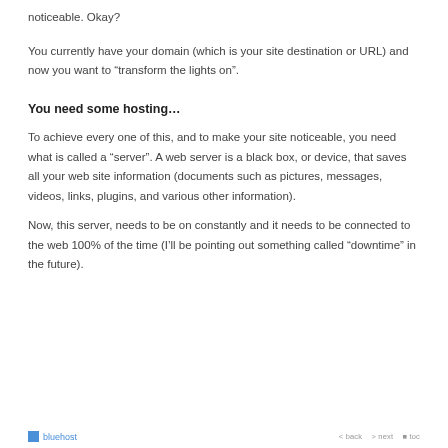noticeable. Okay?
You currently have your domain (which is your site destination or URL) and now you want to “transform the lights on”.
You need some hosting…
To achieve every one of this, and to make your site noticeable, you need what is called a “server”. A web server is a black box, or device, that saves all your web site information (documents such as pictures, messages, videos, links, plugins, and various other information).
Now, this server, needs to be on constantly and it needs to be connected to the web 100% of the time (I’ll be pointing out something called “downtime” in the future).
bluehost